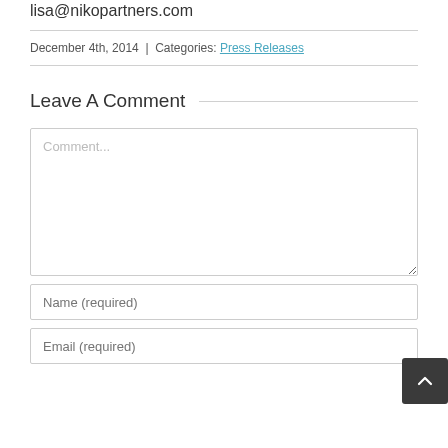lisa@nikopartners.com
December 4th, 2014  |  Categories: Press Releases
Leave A Comment
Comment...
Name (required)
Email (required)